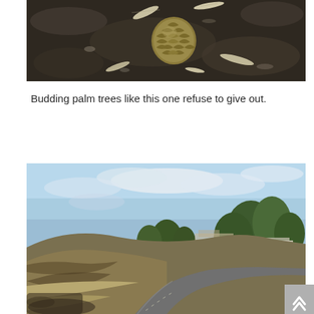[Figure (photo): Close-up photograph of a budding palm tree sprout emerging from dark burned ground, with dried leaves scattered around it.]
Budding palm trees like this one refuse to give out.
[Figure (photo): Outdoor landscape photograph showing a winding road curving through hills with burned/dry grass on either side, and trees and buildings visible in the background under a partly cloudy blue sky.]